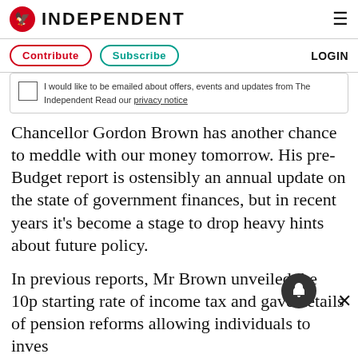INDEPENDENT
I would like to be emailed about offers, events and updates from The Independent Read our privacy notice
Chancellor Gordon Brown has another chance to meddle with our money tomorrow. His pre-Budget report is ostensibly an annual update on the state of government finances, but in recent years it's become a stage to drop heavy hints about future policy.
In previous reports, Mr Brown unveiled the 10p starting rate of income tax and gave details of pension reforms allowing individuals to inves